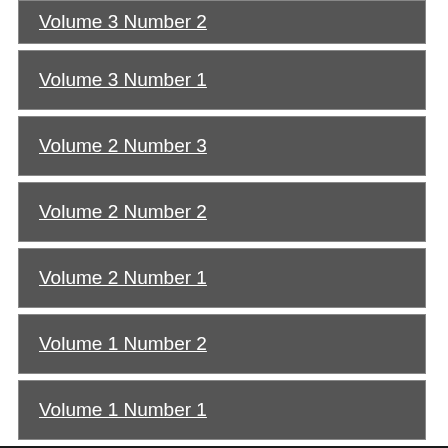Volume 3 Number 2
Volume 3 Number 1
Volume 2 Number 3
Volume 2 Number 2
Volume 2 Number 1
Volume 1 Number 2
Volume 1 Number 1
Related News
AUGUST 5, 2021
Register Aug. 15 for fall Master Gardener classes
JUNE 24, 2021
Agencies tackle high volume of ag damage